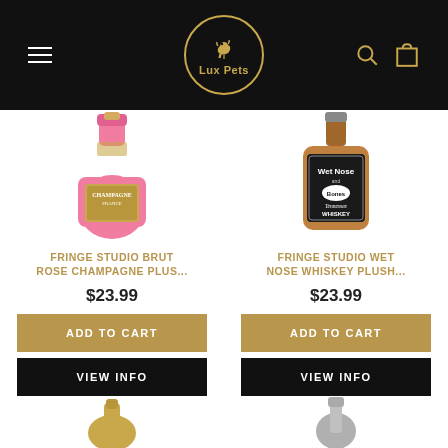[Figure (logo): Lux Pets logo: golden circle with dog/cat silhouette icon and 'Lux Pets' text on black header bar]
[Figure (photo): Pink champagne bottle plush toy with gold label reading 'Champagne France']
FRINGE STUDIO BRUT ROSE CHAMPAGNE PLUS...
$23.99
ADD TO CART
VIEW INFO
[Figure (photo): Brown whiskey bottle plush toy with black and white label reading 'Wet Nose and Bones Tennessee Whiskey']
FRINGE STUDIO WET NOSE WHISKEY PLUSH...
$23.99
ADD TO CART
VIEW INFO